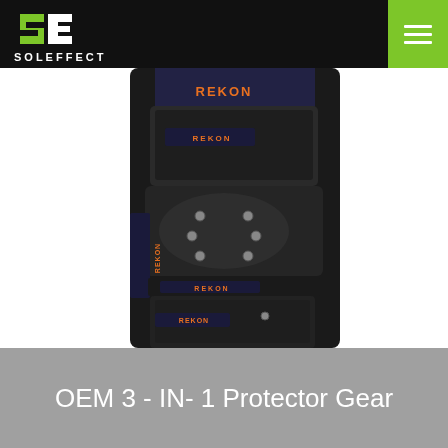SOLEFFECT
[Figure (photo): Close-up photo of a black protective gear pad (3-in-1 protector) with mesh fabric, straps, metal eyelets, and orange/blue REKON branding labels, shown against a white background.]
OEM 3 - IN- 1 Protector Gear